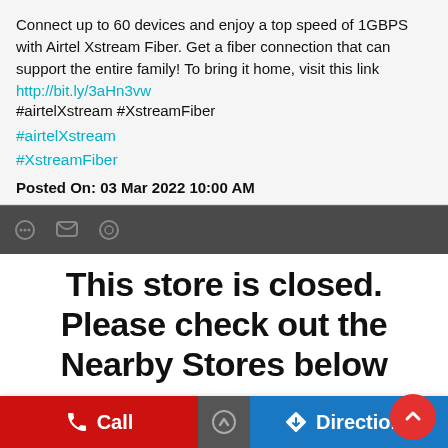Connect up to 60 devices and enjoy a top speed of 1GBPS with Airtel Xstream Fiber. Get a fiber connection that can support the entire family! To bring it home, visit this link
http://bit.ly/3aHn3vw
#airtelXstream #XstreamFiber
#airtelXstream
#XstreamFiber
Posted On: 03 Mar 2022 10:00 AM
This store is closed. Please check out the Nearby Stores below
Xstream app. Click
https://bit.ly/3okc9iK
to download it now. #airtelXstream #XstreamApp
#airtelXstream